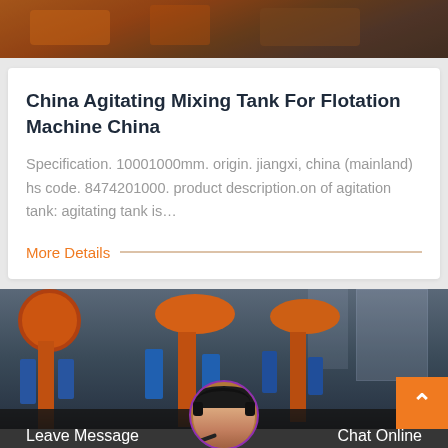[Figure (photo): Top portion of orange industrial machinery equipment, partially cropped]
China Agitating Mixing Tank For Flotation Machine China
Specification. 10001000mm. origin. jiangxi, china (mainland) hs code. 8474201000. product description.on of agitation tank: agitating tank is…
More Details
[Figure (photo): Industrial flotation machines with orange cylindrical tanks and blue components in a factory setting]
Leave Message   Chat Online